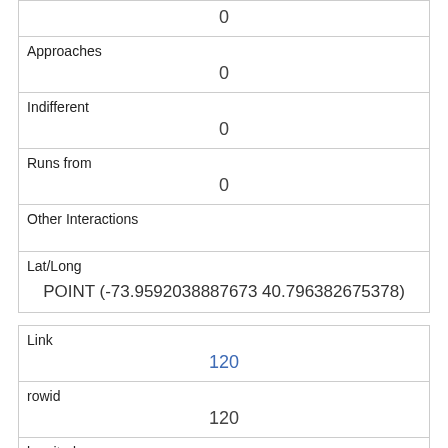|  | 0 |
| Approaches | 0 |
| Indifferent | 0 |
| Runs from | 0 |
| Other Interactions |  |
| Lat/Long | POINT (-73.9592038887673 40.796382675378) |
| Link | 120 |
| rowid | 120 |
| longitude | -73.9511118711108 |
| latitude | 40.7950813345902 |